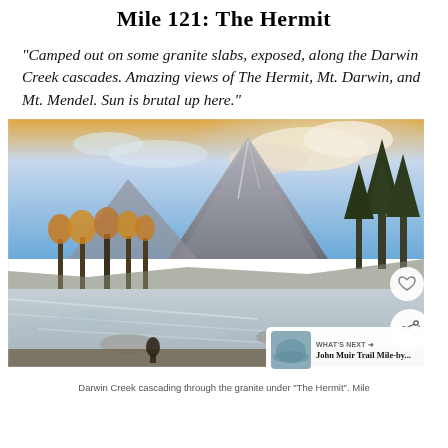Mile 121: The Hermit
“Camped out on some granite slabs, exposed, along the Darwin Creek cascades.  Amazing views of The Hermit, Mt. Darwin, and Mt. Mendel.  Sun is brutal up here.”
[Figure (photo): Darwin Creek cascading through granite slabs under The Hermit mountain peak. Blue sky with clouds and golden-lit peaks in background, conifer trees, golden autumn foliage, a hiker visible near the water.]
Darwin Creek cascading through the granite under “The Hermit“. Mile